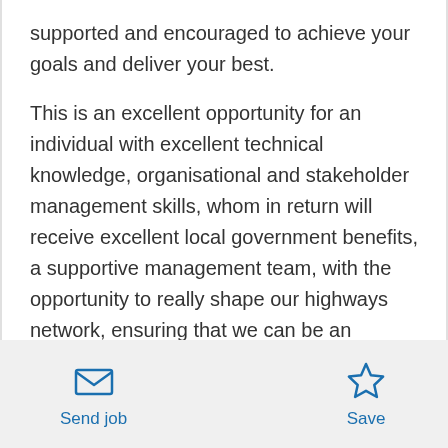supported and encouraged to achieve your goals and deliver your best.
This is an excellent opportunity for an individual with excellent technical knowledge, organisational and stakeholder management skills, whom in return will receive excellent local government benefits, a supportive management team, with the opportunity to really shape our highways network, ensuring that we can be an aspirational city for those who live, work and visit here.
Following the UK leaving the EU, the new skilled
[Figure (other): Footer bar with Send job (envelope icon) and Save (star icon) buttons]